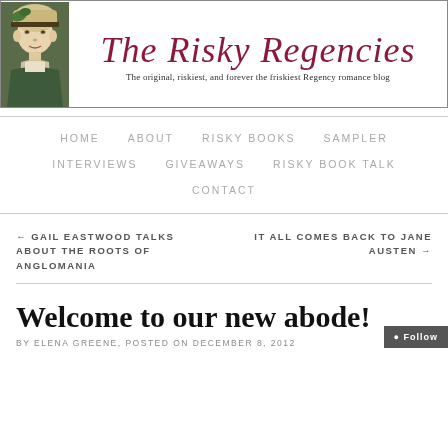[Figure (illustration): Blog header banner for 'The Risky Regencies' showing a Regency-era woman portrait on the left, decorative script title in dark red, and subtitle text below]
The Risky Regencies — The original, riskiest, and forever the friskiest Regency romance blog
HOME
ABOUT
RISKY BOOKS
SAMPLER
INTERVIEWS
GIVEAWAYS
RISKY BOOK TALK
CONTACT
← GAIL EASTWOOD TALKS ABOUT THE ROOTS OF ANGLOMANIA
IT ALL COMES BACK TO JANE AUSTEN →
Welcome to our new abode!
by ELENA GREENE, posted on DECEMBER 8, 2012